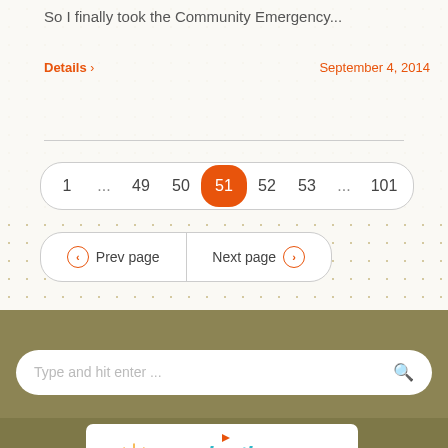So I finally took the Community Emergency...
Details >
September 4, 2014
[Figure (screenshot): Pagination bar showing pages: 1, ..., 49, 50, 51 (active/highlighted in orange), 52, 53, ..., 101]
[Figure (screenshot): Navigation buttons: Prev page and Next page with orange circle icons]
[Figure (screenshot): Search bar with placeholder text 'Type and hit enter ...' and a search icon, on olive/khaki background]
[Figure (logo): reImagination logo with colorful text and small rocket/arrow icon, on white box within olive background section]